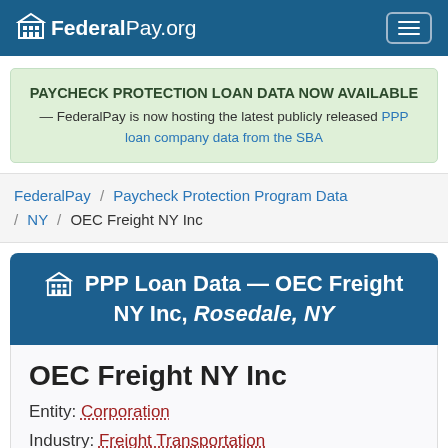FederalPay.org
PAYCHECK PROTECTION LOAN DATA NOW AVAILABLE — FederalPay is now hosting the latest publicly released PPP loan company data from the SBA
FederalPay / Paycheck Protection Program Data / NY / OEC Freight NY Inc
PPP Loan Data — OEC Freight NY Inc, Rosedale, NY
OEC Freight NY Inc
Entity: Corporation
Industry: Freight Transportation